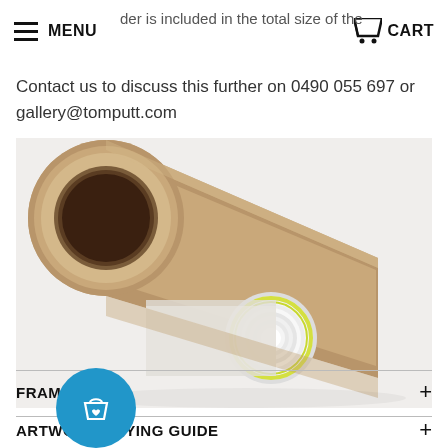MENU  [partial text: der is included in the total size of the print]  CART
Contact us to discuss this further on 0490 055 697 or gallery@tomputt.com
[Figure (photo): A brown cardboard mailing tube lying diagonally with a rolled white paper/print partially inserted, showing a yellow edge detail on the rolled print, photographed on a white background.]
FRAME GUIDE
ARTWORK BUYING GUIDE